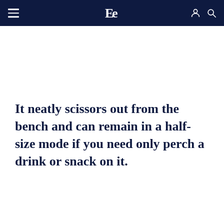Elle Decoration navigation bar with logo, hamburger menu, account and search icons
It neatly scissors out from the bench and can remain in a half-size mode if you need only perch a drink or snack on it.